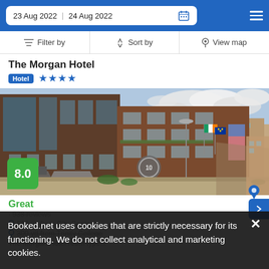23 Aug 2022  24 Aug 2022
Filter by  Sort by  View map
The Morgan Hotel
Hotel ★★★★
[Figure (photo): Street-level photo of The Morgan Hotel exterior, a multi-storey brick building with awnings, flags, and street scene in Dublin city centre]
8.0
Great
938 reviews
510 yd from City Center
300 yd from Trinity College
The Morgan Hotel room type...
Booked.net uses cookies that are strictly necessary for its functioning. We do not collect analytical and marketing cookies.